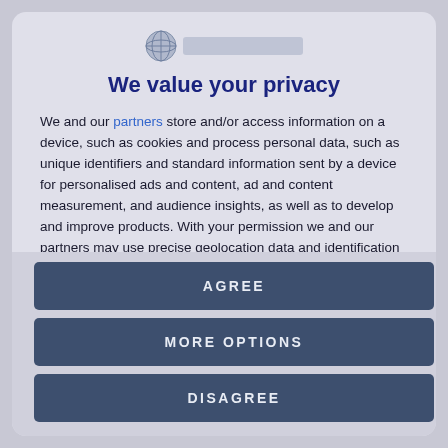[Figure (logo): Circular logo icon with blue globe and a blurred/redacted brand name text bar next to it]
We value your privacy
We and our partners store and/or access information on a device, such as cookies and process personal data, such as unique identifiers and standard information sent by a device for personalised ads and content, ad and content measurement, and audience insights, as well as to develop and improve products. With your permission we and our partners may use precise geolocation data and identification through device scanning. You may click to consent to our and our partners'
AGREE
MORE OPTIONS
DISAGREE